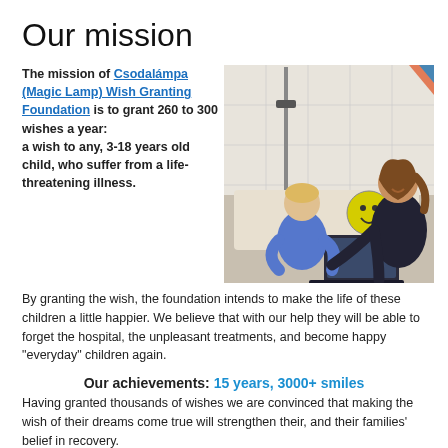Our mission
The mission of Csodalámpa (Magic Lamp) Wish Granting Foundation is to grant 260 to 300 wishes a year: a wish to any, 3-18 years old child, who suffer from a life-threatening illness. By granting the wish, the foundation intends to make the life of these children a little happier. We believe that with our help they will be able to forget the hospital, the unpleasant treatments, and become happy "everyday" children again.
[Figure (photo): A smiling young woman handing a laptop to a child sitting on a hospital bed. A smiley face pillow is visible on the bed.]
Our achievements: 15 years, 3000+ smiles
Having granted thousands of wishes we are convinced that making the wish of their dreams come true will strengthen their, and their families' belief in recovery.